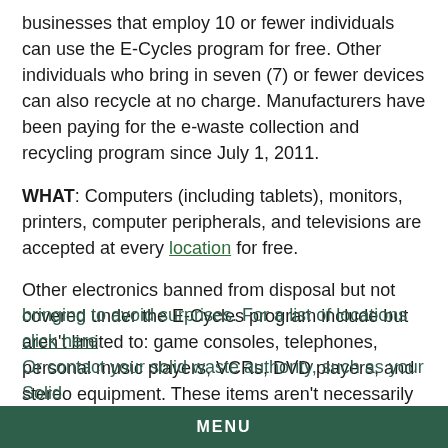businesses that employ 10 or fewer individuals can use the E-Cycles program for free. Other individuals who bring in seven (7) or fewer devices can also recycle at no charge. Manufacturers have been paying for the e-waste collection and recycling program since July 1, 2011.
WHAT: Computers (including tablets), monitors, printers, computer peripherals, and televisions are accepted at every location for free.
Other electronics banned from disposal but not covered under the E-Cycles program include but aren't limited to: game consoles, telephones, personal music players, VCRs, DVD players, and stereo equipment. These items aren't necessarily accepted at all locations, and some locations charge a fee.
WHERE: Call ahead and let them know what your are bringing to avoid surprises. For a list of locations click here. Or contact your solid waste authority, such as your Solid
MENU